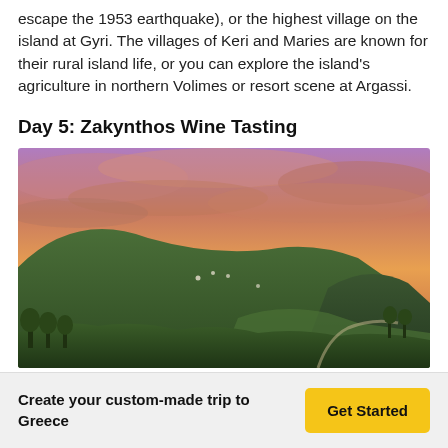escape the 1953 earthquake), or the highest village on the island at Gyri. The villages of Keri and Maries are known for their rural island life, or you can explore the island's agriculture in northern Volimes or resort scene at Argassi.
Day 5: Zakynthos Wine Tasting
[Figure (photo): Landscape photograph of lush green hills covered with vegetation under a dramatic sunset sky with pink, orange, and purple clouds over Zakynthos, Greece.]
Create your custom-made trip to Greece